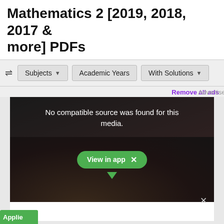Mathematics 2 [2019, 2018, 2017 & more] PDFs
Subjects ▾   Academic Years   With Solutions▾
Advertisement   Remove all ads
[Figure (screenshot): Video player with dark background showing students, with message 'No compatible source was found for this media.' and a green 'View in app' button with X close button]
Applie